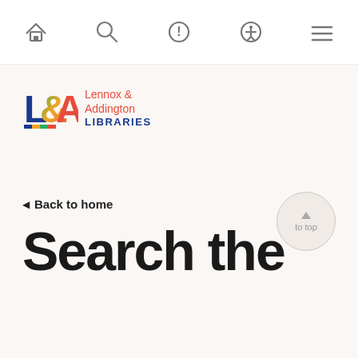[Figure (screenshot): Navigation bar with home, search, info, accessibility, and menu icons]
[Figure (logo): Lennox & Addington Libraries logo with colorful L&A letters and red/blue text]
[Figure (other): To top button, circular with upward arrow and 'to top' text]
◀ Back to home
Search the